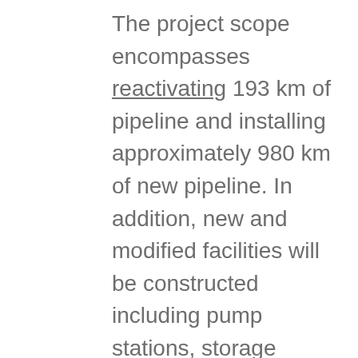The project scope encompasses reactivating 193 km of pipeline and installing approximately 980 km of new pipeline. In addition, new and modified facilities will be constructed including pump stations, storage terminal tanks, and a new dock complex at the Westridge Marine Terminal in Burnaby to increase tanker capacity. The existing pipeline will carry refined products, synthetic and light crude oils with the capability for heavy crude oils, and the new pipeline will carry heavier oils with the capability for transporting light crude oils.